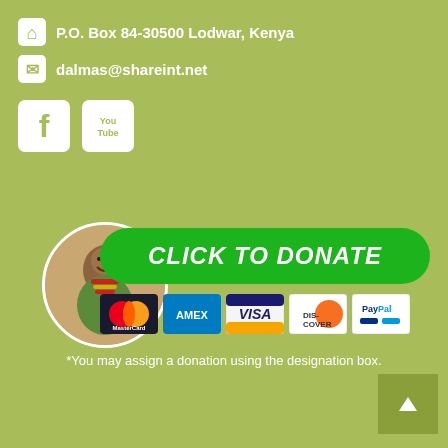P.O. Box 84-30500 Lodwar, Kenya
dalmas@shareint.net
[Figure (illustration): Facebook and YouTube social media icon buttons (white rounded square icons on olive/green background)]
[Figure (photo): Circular photo of a smiling African child with traditional beaded necklace]
[Figure (infographic): Green rounded rectangle donate button with text CLICK TO DONATE, followed by payment method icons: MasterCard, AMEX, Visa, Discover, PayPal]
*You may assign a donation using the designation box.